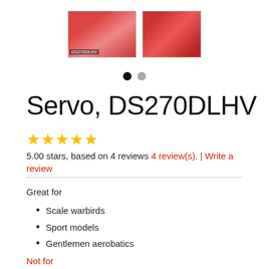[Figure (photo): Two product photos of the DS270DLHV servo. Left image shows the servo from above with a label reading DS270DLHV. Right image shows a hand holding the red servo from the side.]
Servo, DS270DLHV
5.00 stars, based on 4 reviews 4 review(s). | Write a review
Great for
Scale warbirds
Sport models
Gentlemen aerobatics
Not for